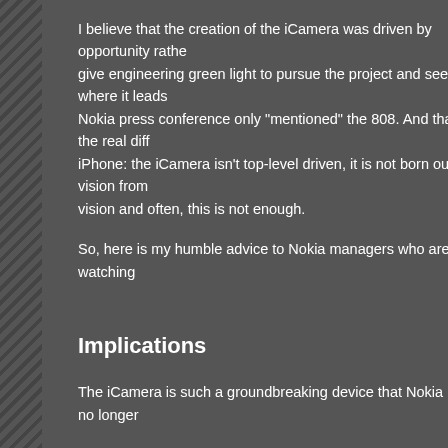I believe that the creation of the iCamera was driven by opportunity rathe... give engineering green light to pursue the project and see where it leads... Nokia press conference only "mentioned" the 808. And that's the real diff... iPhone: the iCamera isn't top-level driven, it is not born out of vision from... vision and often, this is not enough.
So, here is my humble advice to Nokia managers who are only watching...
Implications
The iCamera is such a groundbreaking device that Nokia must no longer...
The iCamera is such a groundbreaking device that Nokia must no longer...
( I said it twice on purpose.) Like the iPhone made Apple drop the "Comp... consider to drop the "Phone" in their brain. They may continue building g... great computers. But now, they have to become a camera maker and wh... have understood it already: They provide a tripod mount and a decent ca...
It is useful to consider what the iCamera could be in another form factor... interchangeable lenses wouldn't necessarily deliver (cf. above). The "len... Where a lens module is exactly what the camera module is in the 808: A...